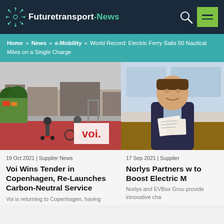Futuretransport-News
Home » News » e-Mobility » World Record: Electric Ferry Sails 50 Nautical Miles on a Single Charge
[Figure (photo): Person on electric scooter and cyclist on red-paved road with Voi logo overlay]
19 Oct 2021 | Supplier News
Voi Wins Tender in Copenhagen, Re-Launches Carbon-Neutral Service
Voi is returning to Copenhagen, having
[Figure (photo): Business man in suit sitting at desk signing papers]
17 Sep 2021 | Supplier
Norlys Partners w to Boost Electric M
Norlys and EVBox Grou provide innovative cha